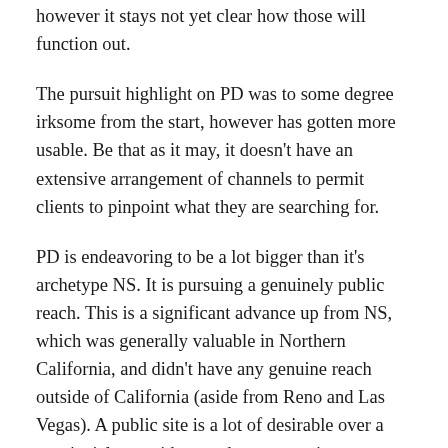however it stays not yet clear how those will function out.
The pursuit highlight on PD was to some degree irksome from the start, however has gotten more usable. Be that as it may, it doesn't have an extensive arrangement of channels to permit clients to pinpoint what they are searching for.
PD is endeavoring to be a lot bigger than it's archetype NS. It is pursuing a genuinely public reach. This is a significant advance up from NS, which was generally valuable in Northern California, and didn't have any genuine reach outside of California (aside from Reno and Las Vegas). A public site is a lot of desirable over a provincial one with regards to promoting, particularly considering the quantity of suppliers who travel to different states.
A few urban communities have enormous quantities of postings, making the site genuinely helpful in those zones. Be that as it